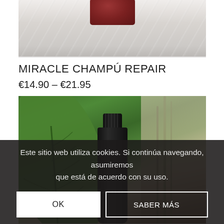[Figure (photo): Partial top view of a product (red/maroon container) on a marble surface, cropped at top]
MIRACLE CHAMPÚ REPAIR
€14.90 – €21.95
[Figure (photo): Botanical background with large green tropical leaf and dark amber bottle with ALTER EGO branding cap visible]
Este sitio web utiliza cookies. Si continúa navegando, asumiremos que está de acuerdo con su uso.
OK
SABER MÁS